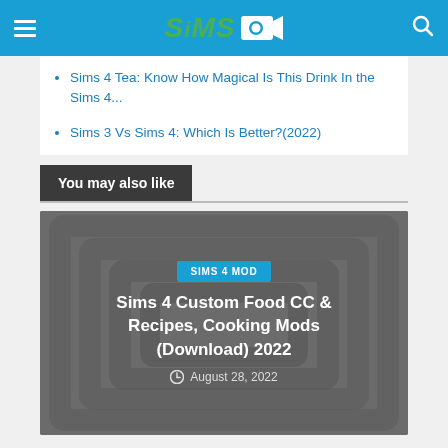Sims [logo with camera icon]
Sims 4 Tea: Know How Magical Is This Drink In the Sims 4...
Sims 3 Vs Sims 4: Which Is Better?(2022)
You may also like
[Figure (screenshot): Card image with dark grey background with concentric square decorative pattern, showing badge 'SIMS 4 MOD', title 'Sims 4 Custom Food CC & Recipes, Cooking Mods (Download) 2022', and date 'August 28, 2022']